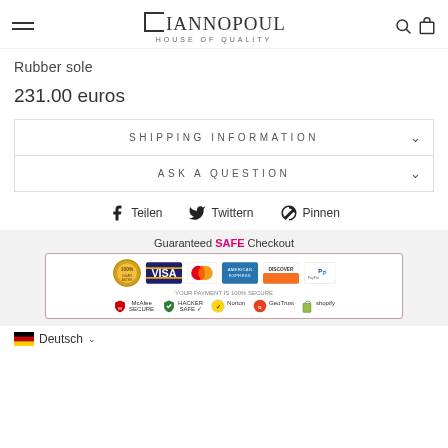[Figure (logo): Gianopoulos House of Quality logo with hamburger menu, search and cart icons]
Rubber sole
231.00 euros
SHIPPING INFORMATION
ASK A QUESTION
Teilen   Twittern   Pinnen
[Figure (infographic): Guaranteed SAFE Checkout banner with Visa, Mastercard, American Express, Discover, PayPal, McAfee Secure, Hacker Safe, Norton, GeoTrust, Shopify logos]
Deutsch